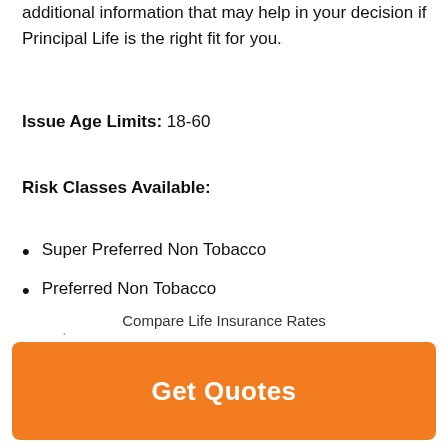additional information that may help in your decision if Principal Life is the right fit for you.
Issue Age Limits: 18-60
Risk Classes Available:
Super Preferred Non Tobacco
Preferred Non Tobacco
Super Standard Non Tobacco
Compare Life Insurance Rates
Get Quotes